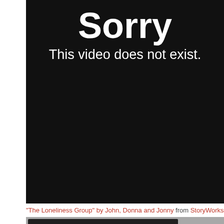[Figure (screenshot): Black video player error screen with large white bold text 'Sorry' and subtitle 'This video does not exist.']
"The Loneliness Group" by John, Donna and Jonny from StoryWorks on Vimeo.
[Figure (screenshot): Gray video player error screen showing illustration of people talking, with overlay labels '"Hidden Families" by Cath Chesterton' and 'StoryWorks', and 'Player error' message: 'The player is having trouble. We'll have it back up and running as soon as possible.']